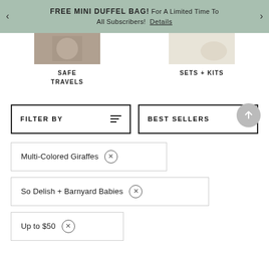FREE MINI DUFFEL BAG! For A Limited Time To All Subscribers! Details
SAFE TRAVELS
SETS + KITS
FILTER BY
BEST SELLERS
Multi-Colored Giraffes ×
So Delish + Barnyard Babies ×
Up to $50 ×